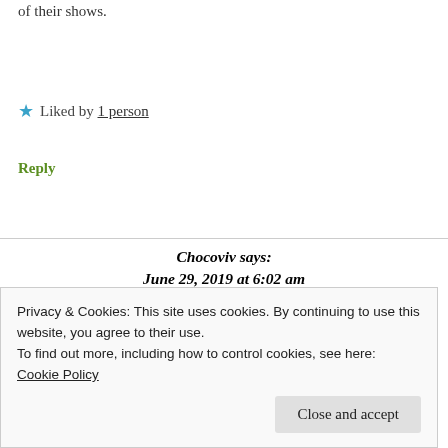of their shows.
★ Liked by 1 person
Reply
Chocoviv says: June 29, 2019 at 6:02 am
They were amazing!
Privacy & Cookies: This site uses cookies. By continuing to use this website, you agree to their use.
To find out more, including how to control cookies, see here: Cookie Policy
Close and accept